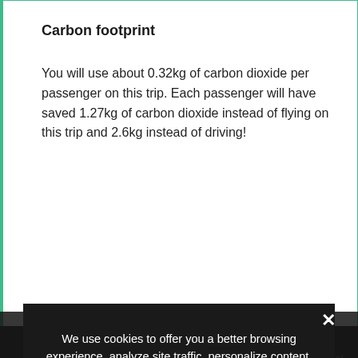Carbon footprint
You will use about 0.32kg of carbon dioxide per passenger on this trip. Each passenger will have saved 1.27kg of carbon dioxide instead of flying on this trip and 2.6kg instead of driving!
Pricing
Prices shown are typical estimates and not final. Variability in final cost of the booking could be slightly more or less than the amount shown here. Variability depends on off-peak and flexibility choices. We will set your fare based on your selection and apply a small fee to cover the cost of your preferred ticket or refunded a portion of your purchase to ensure you receive a competitive rate for your final booking.
Image credits
We use cookies to offer you a better browsing experience, analyze site traffic, personalize content, and serve targeted advertisements. Read about how we use cookies and how you can control them by clicking "Privacy Preferences". If you continue to use this site, you consent to our use of cookies.
❯ Privacy Preferences
I Agree